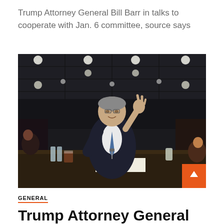Trump Attorney General Bill Barr in talks to cooperate with Jan. 6 committee, source says
[Figure (photo): Photo of Bill Barr standing and raising his right hand in what appears to be a congressional hearing room. A nameplate reading 'The Honorable William P. Barr' is visible on the table in front of him. The room has a dark ceiling with circular lights.]
GENERAL
Trump Attorney General